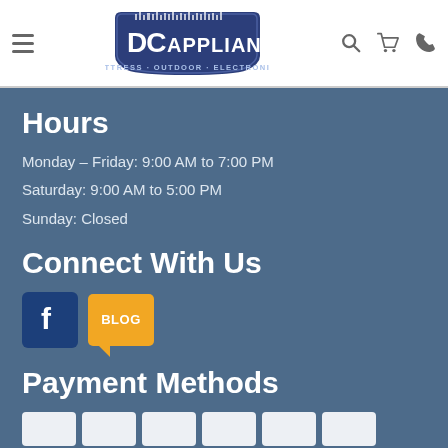[Figure (logo): DC Appliance logo with tagline Mattress · Outdoor · Electronics, dark navy blue shield shape with white text]
Hours
Monday – Friday: 9:00 AM to 7:00 PM
Saturday: 9:00 AM to 5:00 PM
Sunday: Closed
Connect With Us
[Figure (logo): Facebook icon (blue square with white F) and a Blog icon (orange speech bubble with BLOG text)]
Payment Methods
[Figure (other): Row of payment method card icons partially visible at bottom of page]